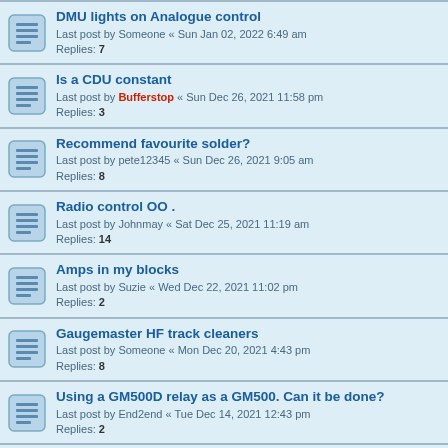DMU lights on Analogue control
Last post by Someone « Sun Jan 02, 2022 6:49 am
Replies: 7
Is a CDU constant
Last post by Bufferstop « Sun Dec 26, 2021 11:58 pm
Replies: 3
Recommend favourite solder?
Last post by pete12345 « Sun Dec 26, 2021 9:05 am
Replies: 8
Radio control OO .
Last post by Johnmay « Sat Dec 25, 2021 11:19 am
Replies: 14
Amps in my blocks
Last post by Suzie « Wed Dec 22, 2021 11:02 pm
Replies: 2
Gaugemaster HF track cleaners
Last post by Someone « Mon Dec 20, 2021 4:43 pm
Replies: 8
Using a GM500D relay as a GM500. Can it be done?
Last post by End2end « Tue Dec 14, 2021 12:43 pm
Replies: 2
DPDT Switch
Last post by mdn7 « Sun Dec 12, 2021 5:14 pm
Replies: 2
Powering Kato Turnout control levers without Kato powerpack
Last post by Alexander Court « Fri Dec 10, 2021 10:51 pm
Replies: 4
auto stopping at stations
Last post by steameroarh « Thu Dec 02, 2021 1:48 pm